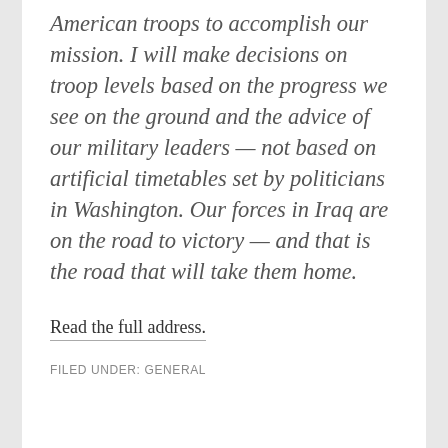American troops to accomplish our mission. I will make decisions on troop levels based on the progress we see on the ground and the advice of our military leaders — not based on artificial timetables set by politicians in Washington. Our forces in Iraq are on the road to victory — and that is the road that will take them home.
Read the full address.
FILED UNDER: GENERAL